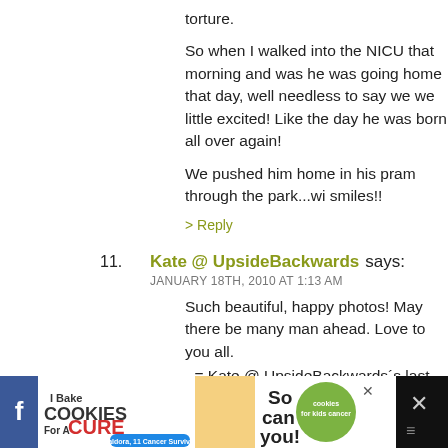torture.
So when I walked into the NICU that morning and was he was going home that day, well needless to say we we little excited! Like the day he was born all over again!
We pushed him home in his pram through the park...wi smiles!!
> Reply
11. Kate @ UpsideBackwards says: JANUARY 18TH, 2010 AT 1:13 AM
Such beautiful, happy photos! May there be many man ahead. Love to you all.
.-= Kate @ UpsideBackwards´s last blog ..The Night Visi
> Reply
12. Cinthia says: JANUARY 18TH, 2010 AT 1:14 AM
[Figure (screenshot): Advertisement banner: I Bake COOKIES For A CURE with photo of child and 'So can you!' text and cookies for kids cancer logo]